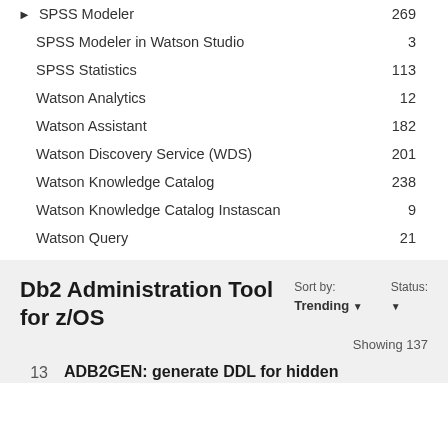SPSS Modeler  269
SPSS Modeler in Watson Studio  3
SPSS Statistics  113
Watson Analytics  12
Watson Assistant  182
Watson Discovery Service (WDS)  201
Watson Knowledge Catalog  238
Watson Knowledge Catalog Instascan  9
Watson Query  21
Db2 Administration Tool for z/OS
Sort by: Trending ▼   Status: ▼
Showing 137
13   ADB2GEN: generate DDL for hidden